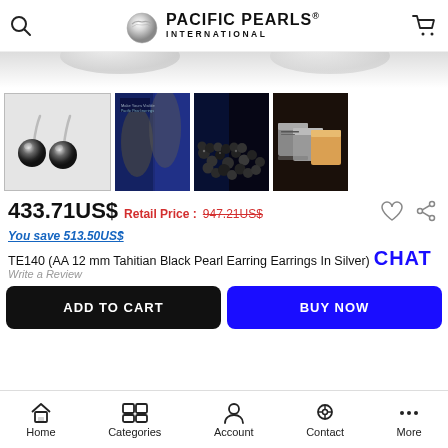Pacific Pearls International
[Figure (photo): Four product images: main image of black pearl earrings in silver, a lifestyle/ad photo with blue background, a pile of black pearls, and packaging boxes]
433.71US$  Retail Price : 947.21US$
You save 513.50US$
TE140 (AA 12 mm Tahitian Black Pearl Earring Earrings In Silver)
Write a Review
ADD TO CART
BUY NOW
Home  Categories  Account  Contact  More